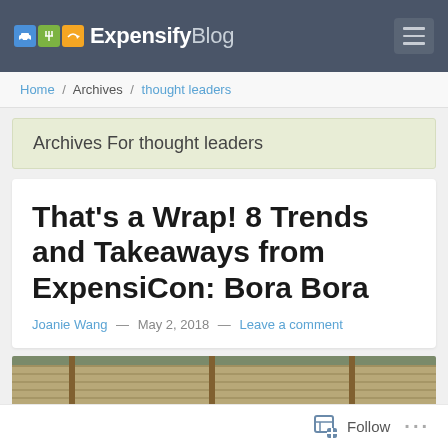Expensify Blog
Home / Archives / thought leaders
Archives For thought leaders
That's a Wrap! 8 Trends and Takeaways from ExpensiCon: Bora Bora
Joanie Wang — May 2, 2018 — Leave a comment
[Figure (photo): Tropical thatched roof structure in Bora Bora, photo partially visible]
Follow